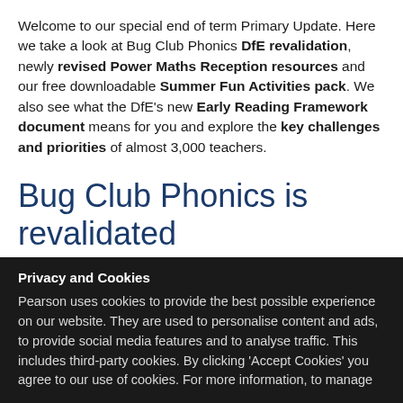Welcome to our special end of term Primary Update. Here we take a look at Bug Club Phonics DfE revalidation, newly revised Power Maths Reception resources and our free downloadable Summer Fun Activities pack. We also see what the DfE's new Early Reading Framework document means for you and explore the key challenges and priorities of almost 3,000 teachers.
Bug Club Phonics is revalidated by DfE!
Privacy and Cookies
Pearson uses cookies to provide the best possible experience on our website. They are used to personalise content and ads, to provide social media features and to analyse traffic. This includes third-party cookies. By clicking 'Accept Cookies' you agree to our use of cookies. For more information, to manage